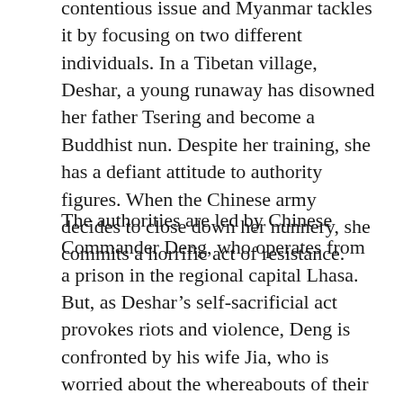contentious issue and Myanmar tackles it by focusing on two different individuals. In a Tibetan village, Deshar, a young runaway has disowned her father Tsering and become a Buddhist nun. Despite her training, she has a defiant attitude to authority figures. When the Chinese army decides to close down her nunnery, she commits a horrific act of resistance.
The authorities are led by Chinese Commander Deng, who operates from a prison in the regional capital Lhasa. But, as Deshar's self-sacrificial act provokes riots and violence, Deng is confronted by his wife Jia, who is worried about the whereabouts of their daughter Liu. She has gone missing in the confusion of the rioting, and her parents are powerless to find her. Jia, angry at Deng's inability to locate their daughter, decides